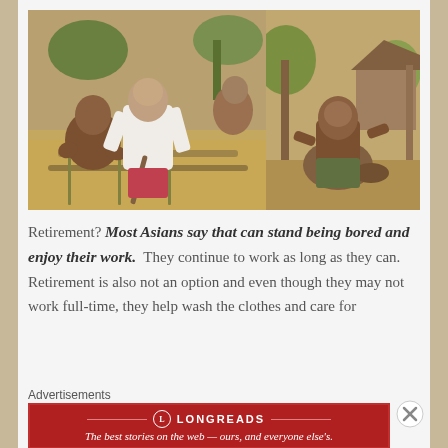[Figure (photo): Two side-by-side outdoor photos. Left: Men working with bamboo/wood on the ground, one older man in white shirt working with a tool. Right: A shirtless man sitting crouched near the ground outdoors.]
Retirement? Most Asians say that can stand being bored and enjoy their work. They continue to work as long as they can. Retirement is also not an option and even though they may not work full-time, they help wash the clothes and care for
Advertisements
[Figure (other): Longreads advertisement banner. Red background with white text: 'The best stories on the web — ours, and everyone else's.']